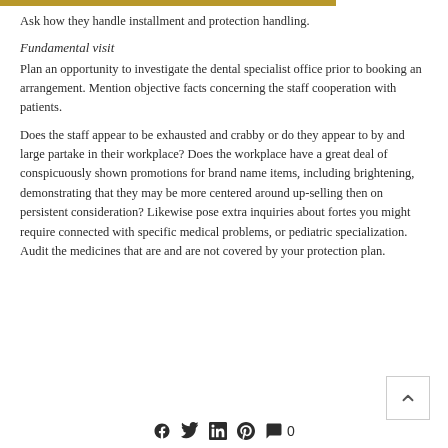Ask how they handle installment and protection handling.
Fundamental visit
Plan an opportunity to investigate the dental specialist office prior to booking an arrangement. Mention objective facts concerning the staff cooperation with patients.
Does the staff appear to be exhausted and crabby or do they appear to by and large partake in their workplace? Does the workplace have a great deal of conspicuously shown promotions for brand name items, including brightening, demonstrating that they may be more centered around up-selling then on persistent consideration? Likewise pose extra inquiries about fortes you might require connected with specific medical problems, or pediatric specialization. Audit the medicines that are and are not covered by your protection plan.
f  y  in  ℘  💬 0